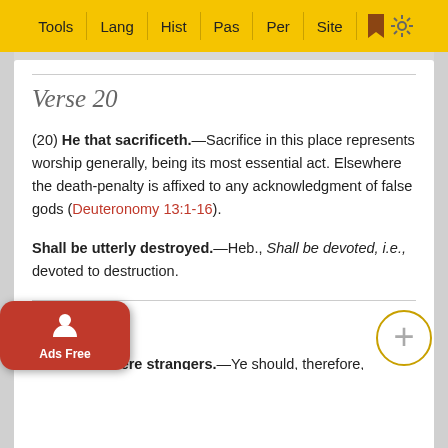Tools | Lang | Hist | Pas | Per | Site
Verse 20
(20) He that sacrificeth.—Sacrifice in this place represents worship generally, being its most essential act. Elsewhere the death-penalty is affixed to any acknowledgment of false gods (Deuteronomy 13:1-16).
Shall be utterly destroyed.—Heb., Shall be devoted, i.e., devoted to destruction.
Verse 21
(21) For ye were strangers.—Ye should, therefore, sympa... ss them... The